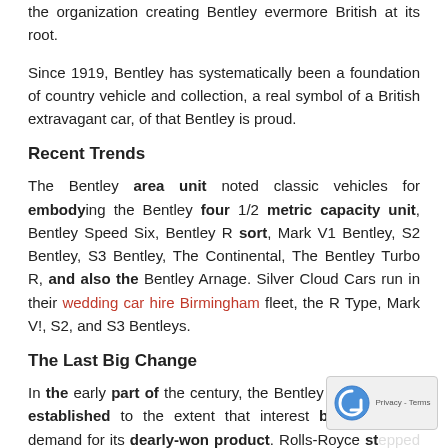the organization creating Bentley evermore British at its root.
Since 1919, Bentley has systematically been a foundation of country vehicle and collection, a real symbol of a British extravagant car, of that Bentley is proud.
Recent Trends
The Bentley area unit noted classic vehicles for embodying the Bentley four 1/2 metric capacity unit, Bentley Speed Six, Bentley R sort, Mark V1 Bentley, S2 Bentley, S3 Bentley, The Continental, The Bentley Turbo R, and also the Bentley Arnage. Silver Cloud Cars run in their wedding car hire Birmingham fleet, the R Type, Mark V!, S2, and S3 Bentleys.
The Last Big Change
In the early part of the century, the Bentley business was established to the extent that interest born renewed demand for its dearly-won product. Rolls-Royce stepped in and took over all the assets of Bentley Motors Ltd.